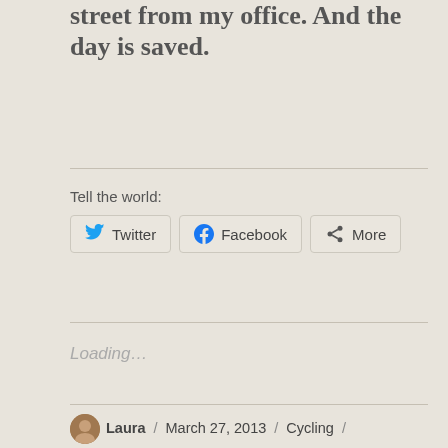street from my office. And the day is saved.
Tell the world:
Twitter  Facebook  More
Loading...
Laura / March 27, 2013 / Cycling / beginning cycling, Bicycle commuting, Bicycle pedal, Commuting, Cycling, cycling skills, healthy-living, Lady Rainicorn, Philadelphia, Road bicycle, Schuylkill River Trail, Winter biking, women cycling / 16 Comments